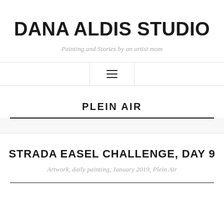DANA ALDIS STUDIO
Painting and Stories by an artist mom
[Figure (other): Navigation hamburger menu icon with three horizontal lines, bordered by vertical lines]
PLEIN AIR
STRADA EASEL CHALLENGE, DAY 9
Artwork, daily painting, January 2019, Plein Air